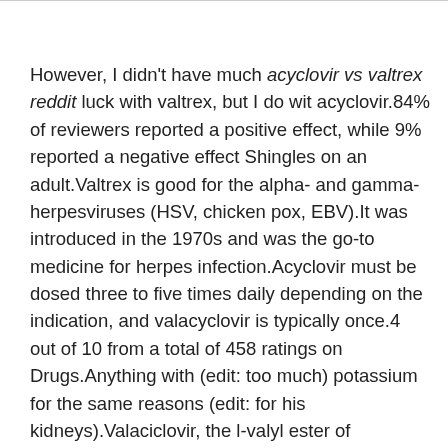However, I didn't have much acyclovir vs valtrex reddit luck with valtrex, but I do wit acyclovir.84% of reviewers reported a positive effect, while 9% reported a negative effect Shingles on an adult.Valtrex is good for the alpha- and gamma-herpesviruses (HSV, chicken pox, EBV).It was introduced in the 1970s and was the go-to medicine for herpes infection.Acyclovir must be dosed three to five times daily depending on the indication, and valacyclovir is typically once.4 out of 10 from a total of 458 ratings on Drugs.Anything with (edit: too much) potassium for the same reasons (edit: for his kidneys).Valaciclovir, the l-valyl ester of acyclovir, is rapidly and almost completely converted to acyclovir in vivo and gi ....The phase IV clinical study is created by